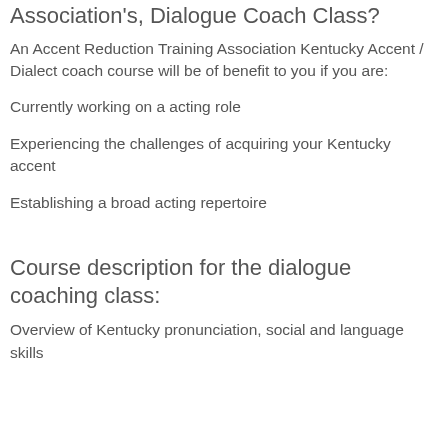Who should attend the Accent Reduction Training Association's, Dialogue Coach Class?
An Accent Reduction Training Association Kentucky Accent / Dialect coach course will be of benefit to you if you are:
Currently working on a acting role
Experiencing the challenges of acquiring your Kentucky accent
Establishing a broad acting repertoire
Course description for the dialogue coaching class:
Overview of Kentucky pronunciation, social and language skills